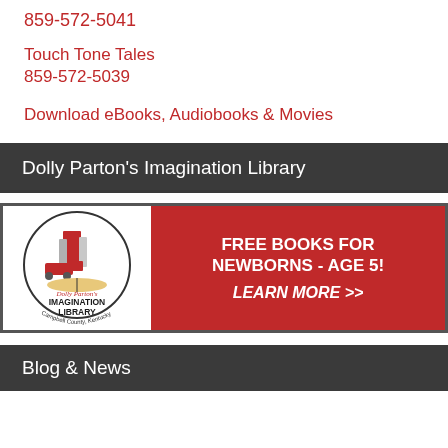859-572-5041
Touch Tone Tales
859-572-5039
Download eBooks, Audiobooks & Movies
Dolly Parton's Imagination Library
[Figure (illustration): Dolly Parton's Imagination Library banner with circular logo on left and red background on right reading 'FREE BOOKS FOR NEWBORNS - AGE 5! LEARN MORE >>']
Blog & News